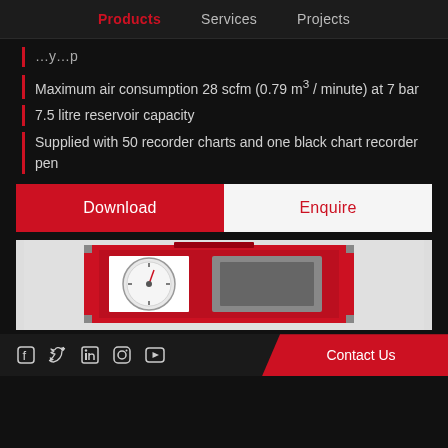Products   Services   Projects
...y...p (partial, cropped)
Maximum air consumption 28 scfm (0.79 m³ / minute) at 7 bar
7.5 litre reservoir capacity
Supplied with 50 recorder charts and one black chart recorder pen
Download
Enquire
[Figure (photo): Red industrial equipment box with gauges and display panel, shown on white background]
Contact Us